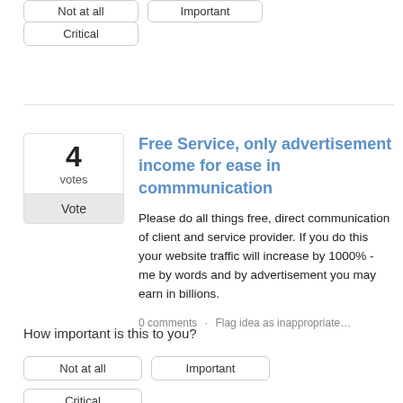[Figure (screenshot): Two rounded-rectangle outline buttons (partially visible at top, cut off)]
Critical
4
votes
Vote
Free Service, only advertisement income for ease in commmunication
Please do all things free, direct communication of client and service provider. If you do this your website traffic will increase by 1000% - me by words and by advertisement you may earn in billions.
0 comments · Flag idea as inappropriate…
How important is this to you?
Not at all
Important
Critical